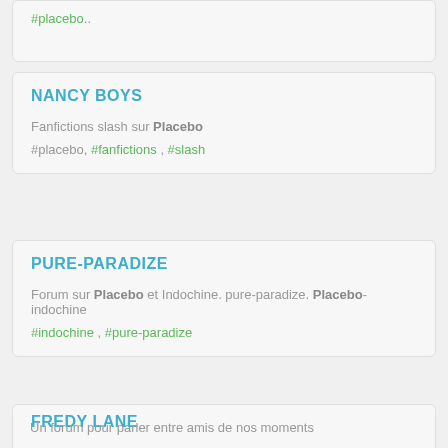#placebo..
NANCY BOYS
Fanfictions slash sur Placebo
#placebo, #fanfictions , #slash
PURE-PARADIZE
Forum sur Placebo et Indochine. pure-paradize. Placebo-indochine
#indochine , #pure-paradize
FREDY LANE
Un forum pour parler entre amis de nos moments